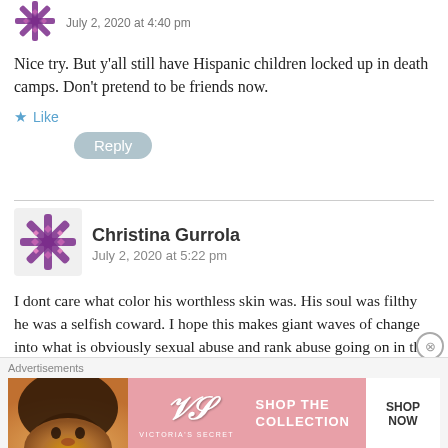[Figure (illustration): Small purple snowflake/star avatar icon for first commenter, partially visible at top left]
July 2, 2020 at 4:40 pm
Nice try. But y’all still have Hispanic children locked up in death camps. Don’t pretend to be friends now.
★ Like
Reply
[Figure (illustration): Purple and pink snowflake/star avatar icon for Christina Gurrola]
Christina Gurrola
July 2, 2020 at 5:22 pm
I dont care what color his worthless skin was. His soul was filthy he was a selfish coward. I hope this makes giant waves of change into what is obviously sexual abuse and rank abuse going on in the army. rest in peace to Vanessa and may their family find justice. I am a proud mexican american and I wont let this become a race issue, it’s a misogyny in the military and abuse of power issue.
Advertisements
[Figure (other): Victoria's Secret advertisement banner with SHOP THE COLLECTION text and SHOP NOW button]